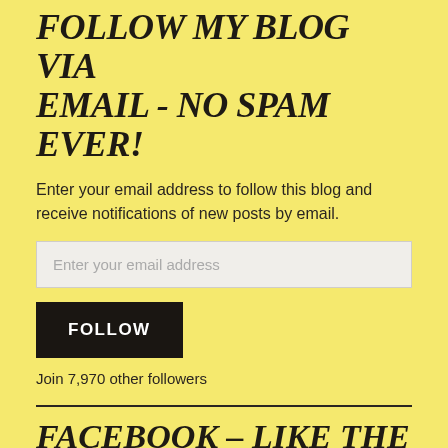FOLLOW MY BLOG VIA EMAIL - NO SPAM EVER!
Enter your email address to follow this blog and receive notifications of new posts by email.
Enter your email address
FOLLOW
Join 7,970 other followers
FACEBOOK – LIKE THE TRAVELLING WRITER